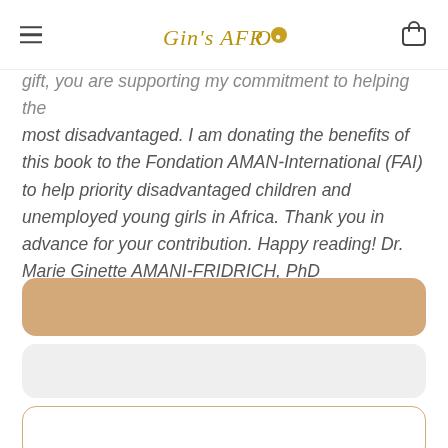Gin's AFRO [logo]
gift, you are supporting my commitment to helping the most disadvantaged. I am donating the benefits of this book to the Fondation AMAN-International (FAI) to help priority disadvantaged children and unemployed young girls in Africa. Thank you in advance for your contribution. Happy reading! Dr. Marie Ginette AMANI-FRIDRICH, PhD
[Figure (other): Tan/beige rounded rectangle button]
[Figure (other): Light gray rounded rectangle button]
[Figure (other): White outlined rounded rectangle button with tan border]